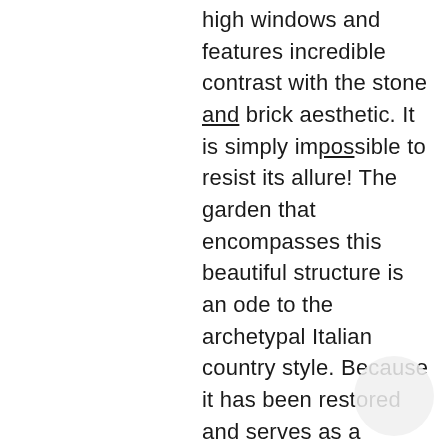high windows and features incredible contrast with the stone and brick aesthetic. It is simply impossible to resist its allure! The garden that encompasses this beautiful structure is an ode to the archetypal Italian country style. Because it has been restored and serves as a reception spot, the contemporary touch is utterly enchanting. When it comes to ceremonies, the juxtaposed The Boiler House Bar near the Fig House will be the sanctuary for your eternal love and devotion. The timeless aesthetic of the Main House in the Middleton Lodge wedding venue will bewitch you as soon as you pass its premises and behold the sweeping staircase in the Grand Hall. For ceremonies, there is a